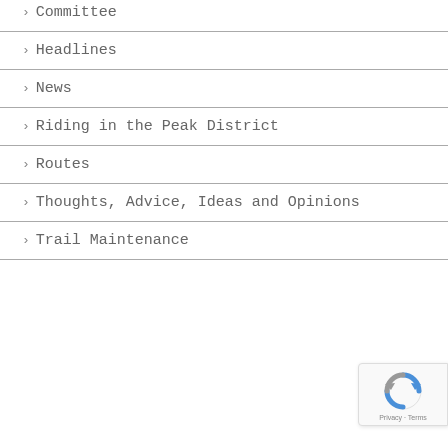Committee
Headlines
News
Riding in the Peak District
Routes
Thoughts, Advice, Ideas and Opinions
Trail Maintenance
[Figure (logo): Google reCAPTCHA badge with Privacy and Terms text]